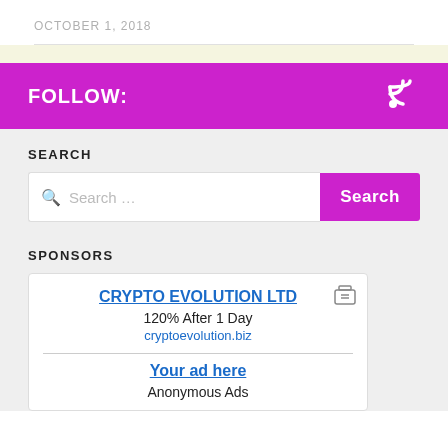OCTOBER 1, 2018
FOLLOW:
SEARCH
SPONSORS
CRYPTO EVOLUTION LTD
120% After 1 Day
cryptoevolution.biz
Your ad here
Anonymous Ads
a-ads.com